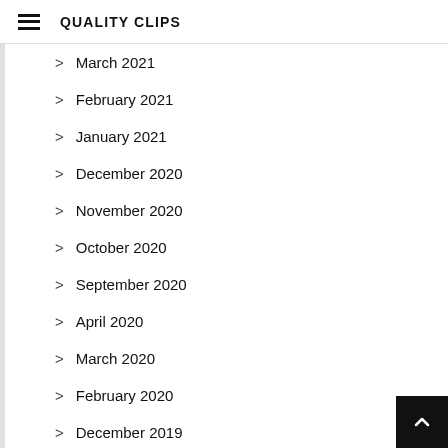QUALITY CLIPS
March 2021
February 2021
January 2021
December 2020
November 2020
October 2020
September 2020
April 2020
March 2020
February 2020
December 2019